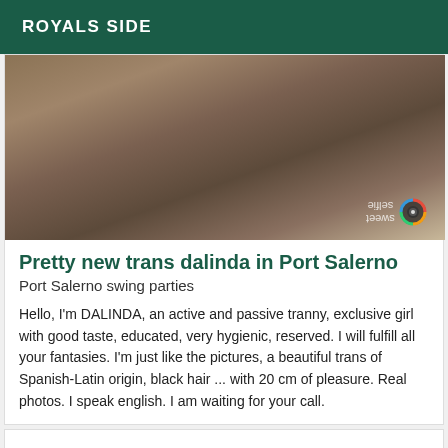ROYALS SIDE
[Figure (photo): Close-up photo of a person in dark bikini underwear, mirrored/watermarked image with 'sweet selfie' text and colorful camera icon watermark in bottom right corner]
Pretty new trans dalinda in Port Salerno
Port Salerno swing parties
Hello, I'm DALINDA, an active and passive tranny, exclusive girl with good taste, educated, very hygienic, reserved. I will fulfill all your fantasies. I'm just like the pictures, a beautiful trans of Spanish-Latin origin, black hair ... with 20 cm of pleasure. Real photos. I speak english. I am waiting for your call.